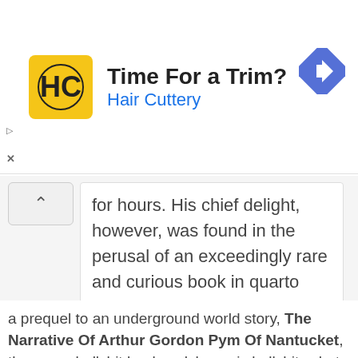[Figure (screenshot): Advertisement banner for Hair Cuttery showing logo, 'Time For a Trim?' headline, and a navigation arrow icon]
for hours. His chief delight, however, was found in the perusal of an exceedingly rare and curious book in quarto Gothic — the manual of a forgotten church — the Vigiliae Mortuorum secundum Chorum Ecclesiae Maguntinae.
a prequel to an underground world story, The Narrative Of Arthur Gordon Pym Of Nantucket, these are bullshit books, alchemy is bullshit, what we do at the FDA now, peer review, a council of elders, Benjamin Franklin, the Royal Society, secret locked